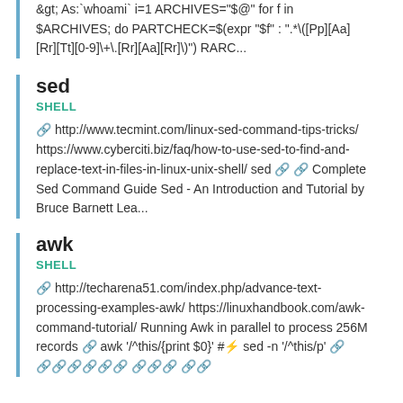&gt; As:`whoami` i=1 ARCHIVES="$@" for f in $ARCHIVES; do PARTCHECK=$(expr "$f" : ".*\([Pp][Aa][Rr][Tt][0-9]\+\.[Rr][Aa][Rr]\)") RARC...
sed
SHELL
🔗 http://www.tecmint.com/linux-sed-command-tips-tricks/ https://www.cyberciti.biz/faq/how-to-use-sed-to-find-and-replace-text-in-files-in-linux-unix-shell/ sed 🔗 🔗 Complete Sed Command Guide Sed - An Introduction and Tutorial by Bruce Barnett Lea...
awk
SHELL
🔗 http://techarena51.com/index.php/advance-text-processing-examples-awk/ https://linuxhandbook.com/awk-command-tutorial/ Running Awk in parallel to process 256M records 🔗 awk '/^this/{print $0}' #⚡ sed -n '/^this/p' 🔗 🔗🔗🔗🔗🔗🔗 🔗🔗🔗 🔗🔗